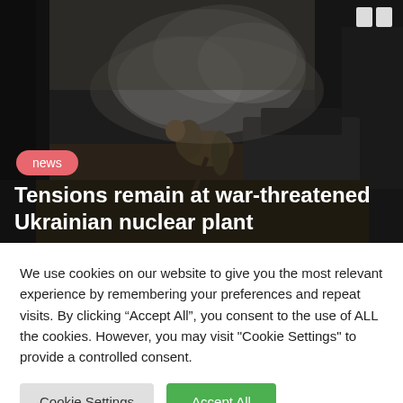[Figure (photo): A soldier working near military equipment in a dark, smoky outdoor environment. Trees and machinery visible in background.]
Tensions remain at war-threatened Ukrainian nuclear plant
We use cookies on our website to give you the most relevant experience by remembering your preferences and repeat visits. By clicking “Accept All”, you consent to the use of ALL the cookies. However, you may visit "Cookie Settings" to provide a controlled consent.